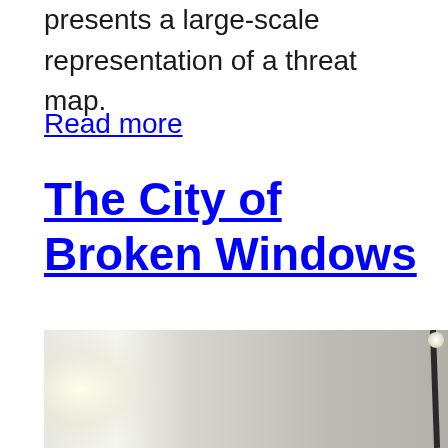presents a large-scale representation of a threat map.
Read more
The City of Broken Windows
[Figure (photo): Interior room or corridor photo showing light-colored walls with a dark diagonal line or edge on the right side and a bright light source in the upper right corner.]